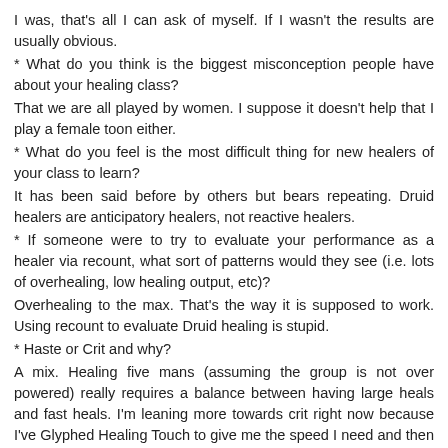I was, that's all I can ask of myself. If I wasn't the results are usually obvious.
* What do you think is the biggest misconception people have about your healing class?
That we are all played by women. I suppose it doesn't help that I play a female toon either.
* What do you feel is the most difficult thing for new healers of your class to learn?
It has been said before by others but bears repeating. Druid healers are anticipatory healers, not reactive healers.
* If someone were to try to evaluate your performance as a healer via recount, what sort of patterns would they see (i.e. lots of overhealing, low healing output, etc)?
Overhealing to the max. That's the way it is supposed to work. Using recount to evaluate Druid healing is stupid.
* Haste or Crit and why?
A mix. Healing five mans (assuming the group is not over powered) really requires a balance between having large heals and fast heals. I'm leaning more towards crit right now because I've Glyphed Healing Touch to give me the speed I need and then working on getting those to crit. The downside to this approach is that if I get a run of bad luck I